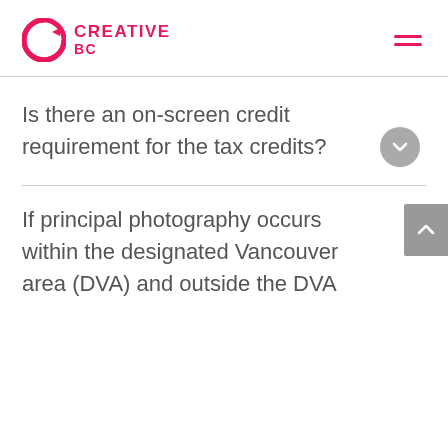Creative BC
Is there an on-screen credit requirement for the tax credits?
If principal photography occurs within the designated Vancouver area (DVA) and outside the DVA